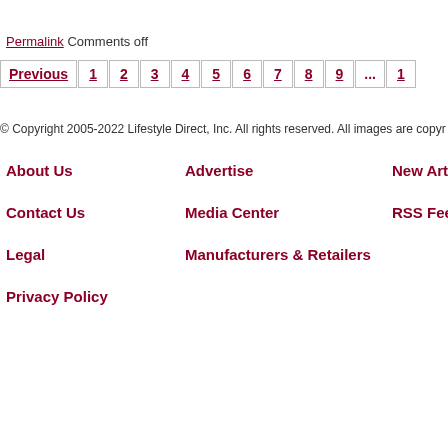Permalink Comments off
Previous 1 2 3 4 5 6 7 8 9 ... 1
© Copyright 2005-2022 Lifestyle Direct, Inc. All rights reserved. All images are copyr
About Us
Contact Us
Legal
Privacy Policy
Advertise
Media Center
Manufacturers & Retailers
New Arti
RSS Fee